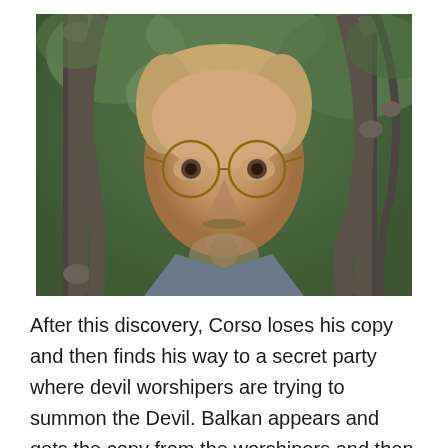[Figure (photo): A man with round gold-framed glasses and a goatee looks through wrought-iron gate bars. Green foliage visible in background. Scene from a film.]
After this discovery, Corso loses his copy and then finds his way to a secret party where devil worshipers are trying to summon the Devil. Balkan appears and gets the copy from the worshipers and then goes to a castle seen in the book pictures where he can finally summon the devil and acquire immortal...